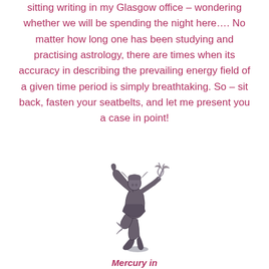sitting writing in my Glasgow office – wondering whether we will be spending the night here…. No matter how long one has been studying and practising astrology, there are times when its accuracy in describing the prevailing energy field of a given time period is simply breathtaking. So – sit back, fasten your seatbelts, and let me present you a case in point!
[Figure (illustration): Bronze statue of Mercury (Hermes), the classical messenger god, shown in a dynamic dancing pose with one finger pointing upward and holding a caduceus staff. The statue is rendered in dark metallic bronze tones.]
Mercury in